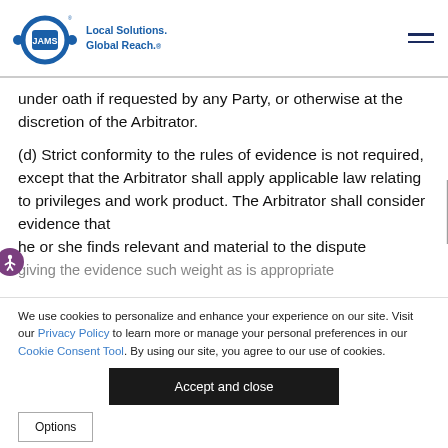JAMS — Local Solutions. Global Reach.
under oath if requested by any Party, or otherwise at the discretion of the Arbitrator.
(d) Strict conformity to the rules of evidence is not required, except that the Arbitrator shall apply applicable law relating to privileges and work product. The Arbitrator shall consider evidence that he or she finds relevant and material to the dispute giving the evidence such weight as is appropriate
We use cookies to personalize and enhance your experience on our site. Visit our Privacy Policy to learn more or manage your personal preferences in our Cookie Consent Tool. By using our site, you agree to our use of cookies.